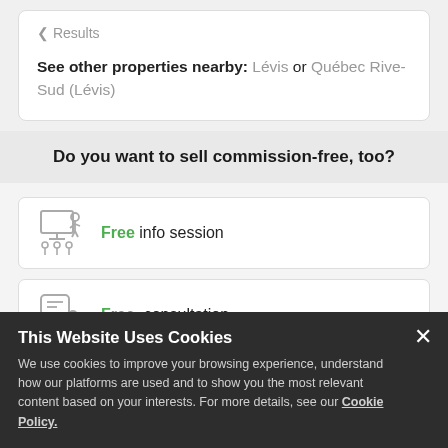< Results
See other properties nearby: Lévis or Québec Rive-Sud (Lévis)
Do you want to sell commission-free, too?
Free info session
Free consultation
1 866 387-7677
This Website Uses Cookies
We use cookies to improve your browsing experience, understand how our platforms are used and to show you the most relevant content based on your interests. For more details, see our Cookie Policy.